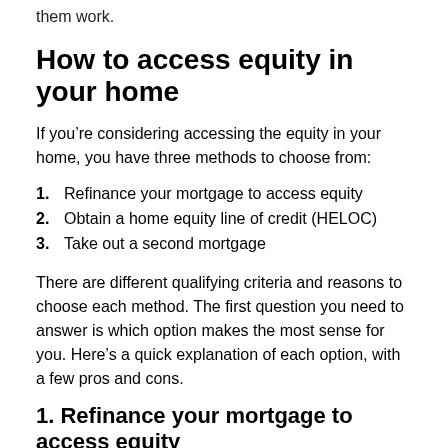them work.
How to access equity in your home
If you're considering accessing the equity in your home, you have three methods to choose from:
1.  Refinance your mortgage to access equity
2.  Obtain a home equity line of credit (HELOC)
3.  Take out a second mortgage
There are different qualifying criteria and reasons to choose each method. The first question you need to answer is which option makes the most sense for you. Here's a quick explanation of each option, with a few pros and cons.
1. Refinance your mortgage to access equity